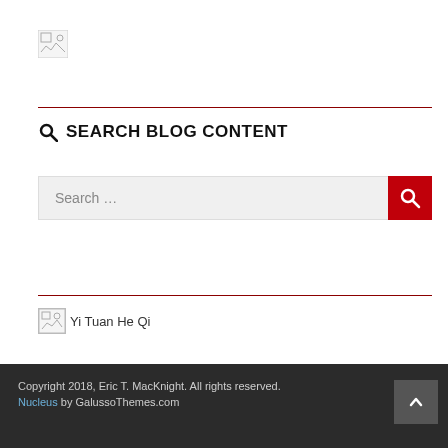[Figure (logo): Broken image placeholder icon in top left]
SEARCH BLOG CONTENT
[Figure (screenshot): Search input field with 'Search ...' placeholder and red search button on the right]
[Figure (illustration): Broken image placeholder followed by text 'Yi Tuan He Qi']
Copyright 2018, Eric T. MacKnight. All rights reserved. Nucleus by GalussoThemes.com